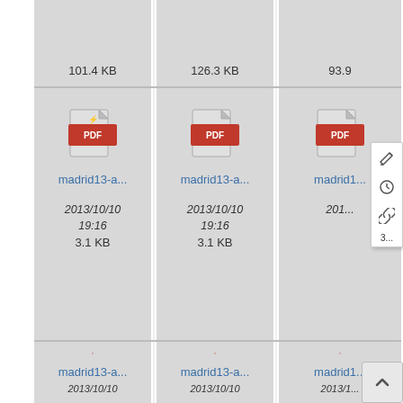[Figure (screenshot): File manager grid view showing PDF file thumbnails. Top row (cropped): three cards showing file sizes 101.4 KB, 126.3 KB, 93.9 KB. Middle row: three PDF file cards labeled madrid13-a... with date 2013/10/10 19:16 and size 3.1 KB each; the third card has a context menu overlay with edit, history, and link icons. Bottom row (partially visible): three more PDF file cards labeled madrid13-a... with date 2013/10/10 partially visible. A scroll-to-top button appears bottom-right.]